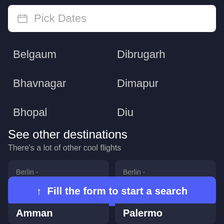[Figure (screenshot): Pick Dates search bar with calendar icon]
Belgaum
Dibrugarh
Bhavnagar
Dimapur
Bhopal
Diu
See other destinations
There's a lot of other cool flights
Berlin - Milan
Berlin - Santiago
↑ Fill the form to start a search
Amman
Palermo